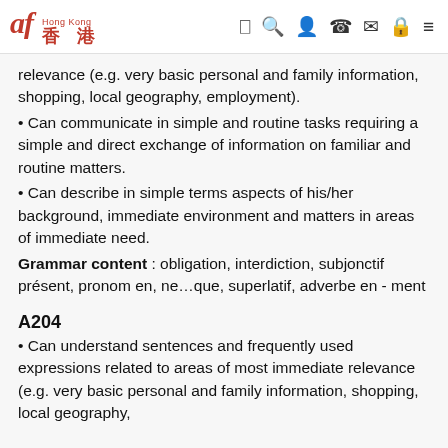Alliance Française Hong Kong 香港
relevance (e.g. very basic personal and family information, shopping, local geography, employment).
Can communicate in simple and routine tasks requiring a simple and direct exchange of information on familiar and routine matters.
Can describe in simple terms aspects of his/her background, immediate environment and matters in areas of immediate need.
Grammar content : obligation, interdiction, subjonctif présent, pronom en, ne…que, superlatif, adverbe en - ment
A204
Can understand sentences and frequently used expressions related to areas of most immediate relevance (e.g. very basic personal and family information, shopping, local geography,